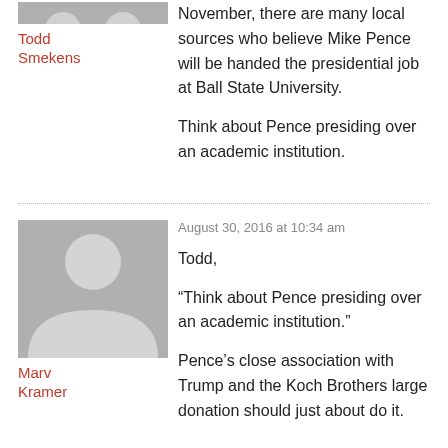November, there are many local sources who believe Mike Pence will be handed the presidential job at Ball State University.
Think about Pence presiding over an academic institution.
Todd Smekens
August 30, 2016 at 10:34 am
Todd,
“Think about Pence presiding over an academic institution.”
Pence’s close association with Trump and the Koch Brothers large donation should just about do it.
Marv Kramer